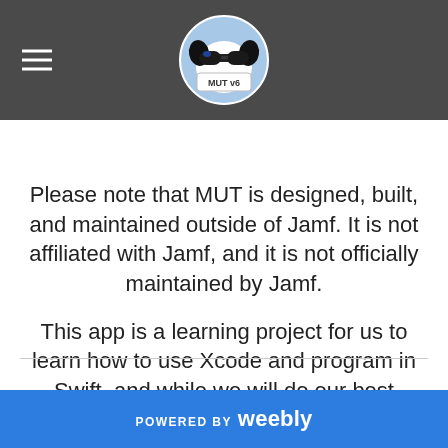MUT v6 (hamburger menu + logo)
Please note that MUT is designed, built, and maintained outside of Jamf. It is not affiliated with Jamf, and it is not officially maintained by Jamf.
This app is a learning project for us to learn how to use Xcode and program in Swift, and while we will do our best
POWERED BY weebly